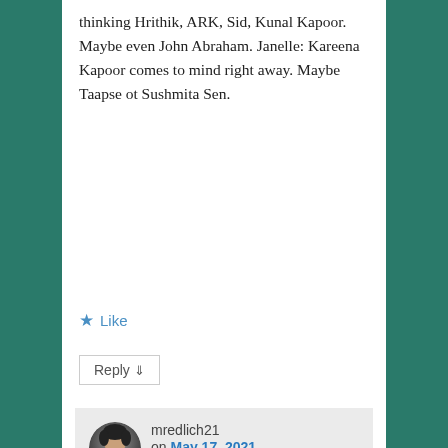thinking Hrithik, ARK, Sid, Kunal Kapoor. Maybe even John Abraham. Janelle: Kareena Kapoor comes to mind right away. Maybe Taapse ot Sushmita Sen.
★ Like
Reply ↓
mredlich21 on May 17, 2021 at 1:42 pm said: Yaaaaaaaaay! Be warned, all the books are SO GOOD!!!! And SO ADDICTIVE!!!! Like, stay up until 3am rushing to finish them good.